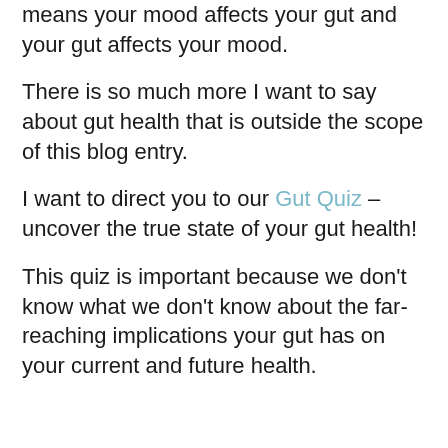means your mood affects your gut and your gut affects your mood.
There is so much more I want to say about gut health that is outside the scope of this blog entry.
I want to direct you to our Gut Quiz – uncover the true state of your gut health!
This quiz is important because we don't know what we don't know about the far-reaching implications your gut has on your current and future health.